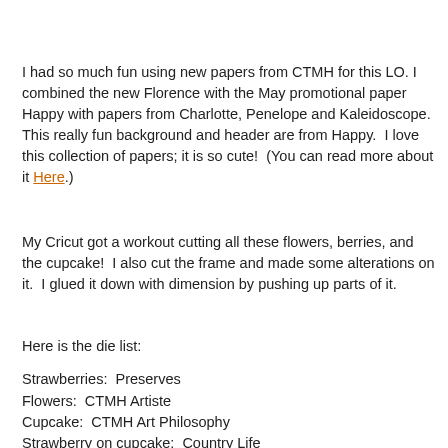I had so much fun using new papers from CTMH for this LO. I combined the new Florence with the May promotional paper Happy with papers from Charlotte, Penelope and Kaleidoscope. This really fun background and header are from Happy. I love this collection of papers; it is so cute! (You can read more about it Here.)
My Cricut got a workout cutting all these flowers, berries, and the cupcake! I also cut the frame and made some alterations on it. I glued it down with dimension by pushing up parts of it.
Here is the die list:
Strawberries:  Preserves
Flowers:  CTMH Artiste
Cupcake:  CTMH Art Philosophy
Strawberry on cupcake:  Country Life
Frame:  CTMH Artloving